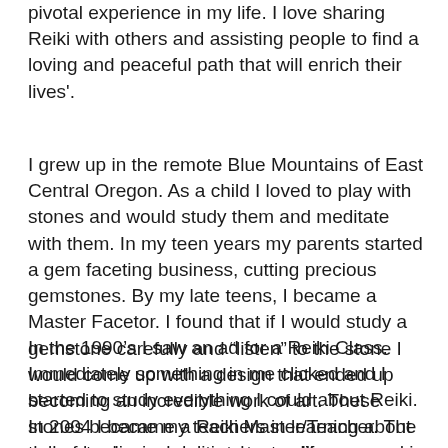pivotal experience in my life. I love sharing Reiki with others and assisting people to find a loving and peaceful path that will enrich their lives'.
I grew up in the remote Blue Mountains of East Central Oregon. As a child I loved to play with stones and would study them and meditate with them. In my teen years my parents started a gem faceting business, cutting precious gemstones. By my late teens, I became a Master Facetor. I found that if I would study a gemstone carefully and “listen” to the stone I would come up with a design that ended up becoming an incredible work of art. These stones became my teachers in learning about the metaphysical aspects to our life experience.
In the 1990’s I saw an ad for a Reiki Class. Immediately something in me clicked and I started to study everything I could about Reiki. In 2004 I became a Reiki Master/Teacher. The call of healing modalities kept calling me and in August of